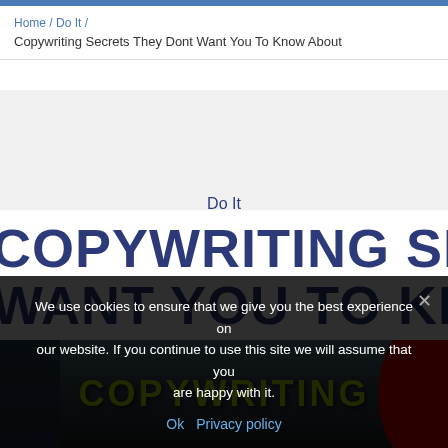Home / Do It / Copywriting Secrets They Dont Want You To Know About
Do It
COPYWRITING SECRETS THEY DONT WANT YOU TO KNOW ABOUT
[Figure (photo): Photo strip showing text 'COPYWRITING' in green/yellow bold letters on dark background with partial red circular element on right]
We use cookies to ensure that we give you the best experience on our website. If you continue to use this site we will assume that you are happy with it.
Ok   Privacy policy